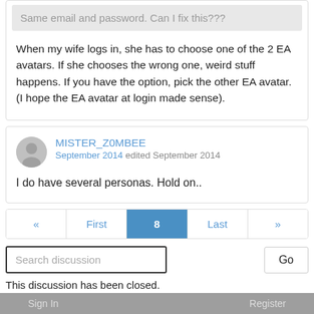Same email and password. Can I fix this???
When my wife logs in, she has to choose one of the 2 EA avatars. If she chooses the wrong one, weird stuff happens. If you have the option, pick the other EA avatar. (I hope the EA avatar at login made sense).
MISTER_Z0MBEE
September 2014 edited September 2014
I do have several personas. Hold on..
« First 8 Last »
Search discussion
Go
This discussion has been closed.
Sign In    Register